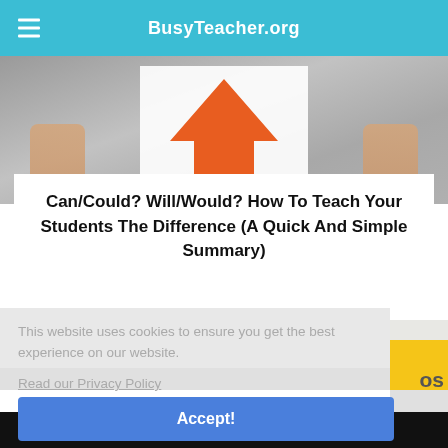BusyTeacher.org
[Figure (photo): Person holding a large orange upward-pointing arrow sign against a grey concrete background.]
Can/Could? Will/Would? How To Teach Your Students The Difference (A Quick And Simple Summary)
This website uses cookies to ensure you get the best experience on our website.
Read our Privacy Policy
Accept!
[Figure (photo): Partial view of images and text at the bottom of the page reading HOW TO TEACH]
HOW TO TEACH